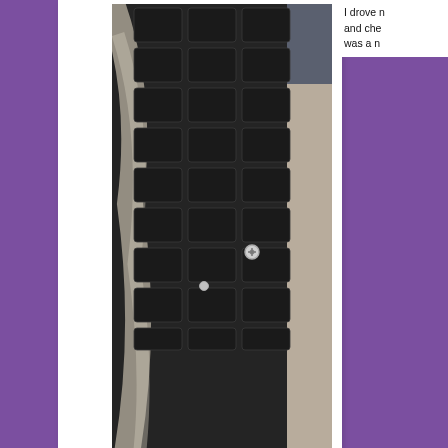[Figure (photo): Close-up photo of a large off-road tire on a vehicle, showing the tread with what appears to be a nail or screw embedded in it. The tire is resting on a concrete garage floor.]
I drove n… and che… was a n…
So I headed to the garage to get the tire plugged. My neighbor next door, a mechanic, said the plug should be good because the pressure in the tire will keep it in. Now
[Figure (photo): Photo of a mechanic in a blue shirt crouching down working on a tire of a dark-colored vehicle, visible in the lower right portion of the page.]